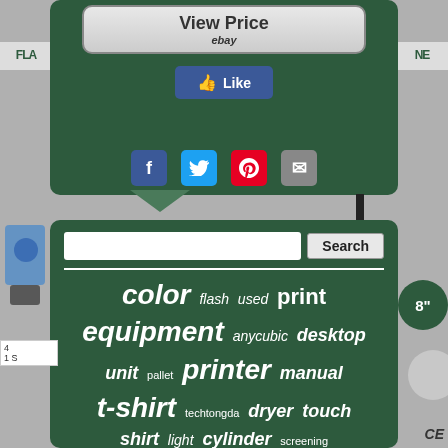[Figure (screenshot): Top section of a webpage with dark green background card. Shows a 'View Price / ebay' button at top, a Facebook Like button below it, followed by social media sharing icons (Facebook, Twitter, Pinterest, Email).]
[Figure (screenshot): Bottom section of webpage with dark green background card, containing a search input field with Search button, and a tag/word cloud. Words visible: color, flash, used, print, equipment, anycubic, desktop, unit, pallet, printer, manual, t-shirt, techtongda, dryer, touch, shirt, light, cylinder, screening, exposure, bottle, silk, micro.]